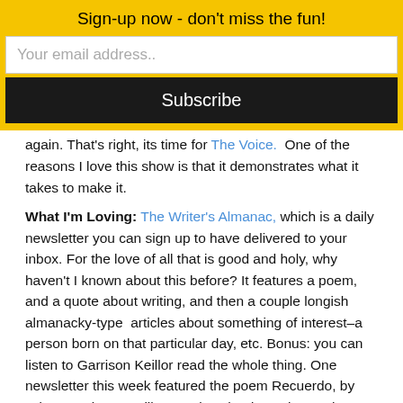Sign-up now - don't miss the fun!
Your email address..
Subscribe
again. That's right, its time for The Voice.  One of the reasons I love this show is that it demonstrates what it takes to make it.
What I'm Loving: The Writer's Almanac, which is a daily newsletter you can sign up to have delivered to your inbox. For the love of all that is good and holy, why haven't I known about this before? It features a poem, and a quote about writing, and then a couple longish almanacky-type  articles about something of interest–a person born on that particular day, etc. Bonus: you can listen to Garrison Keillor read the whole thing. One newsletter this week featured the poem Recuerdo, by Edna St. Vincent Millay. Again: why don't I know about this kick-ass poet and the amazing life she led? (Okay, don't answer that, it's because I tend to ignore poets and poetry. To my detriment.)